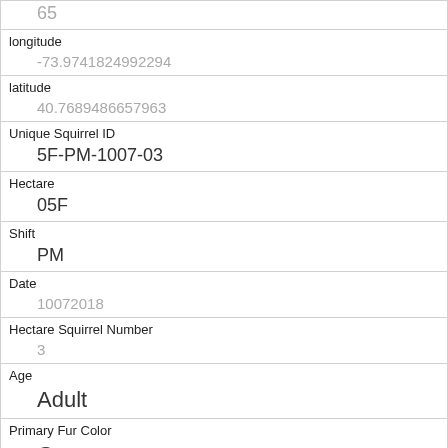| 65 |  |
| longitude | -73.9741824992294 |
| latitude | 40.7689486657963 |
| Unique Squirrel ID | 5F-PM-1007-03 |
| Hectare | 05F |
| Shift | PM |
| Date | 10072018 |
| Hectare Squirrel Number | 3 |
| Age | Adult |
| Primary Fur Color | Gray |
| Highlight Fur Color | Cinnamon |